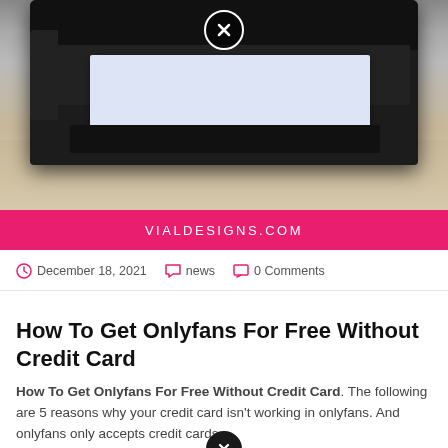[Figure (photo): A black laser printer on a wooden desk with white paper in the paper tray, shot from the front at a slight angle.]
VIALDESIGNS.COM
December 18, 2021   news   0 Comments
How To Get Onlyfans For Free Without Credit Card
How To Get Onlyfans For Free Without Credit Card. The following are 5 reasons why your credit card isn't working in onlyfans. And onlyfans only accepts credit cards.